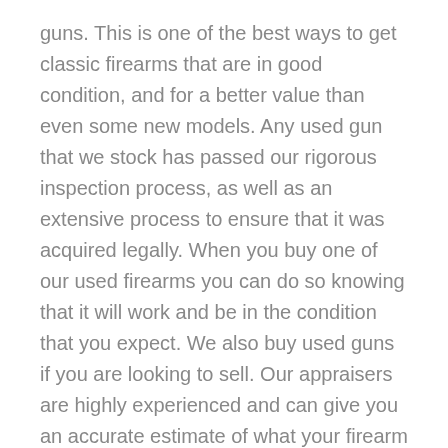guns. This is one of the best ways to get classic firearms that are in good condition, and for a better value than even some new models. Any used gun that we stock has passed our rigorous inspection process, as well as an extensive process to ensure that it was acquired legally. When you buy one of our used firearms you can do so knowing that it will work and be in the condition that you expect. We also buy used guns if you are looking to sell. Our appraisers are highly experienced and can give you an accurate estimate of what your firearm is worth.
FFL CERTIFIED
Lakeshore Guns has a Federal Firearms License (FFL), which is a crucial part of your buying...